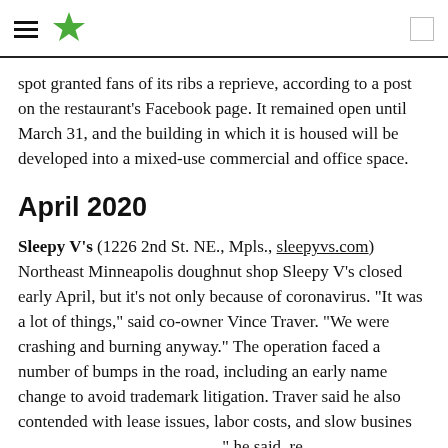[hamburger menu] [star logo] [search icon]
spot granted fans of its ribs a reprieve, according to a post on the restaurant's Facebook page. It remained open until March 31, and the building in which it is housed will be developed into a mixed-use commercial and office space.
April 2020
Sleepy V's (1226 2nd St. NE., Mpls., sleepyvs.com) Northeast Minneapolis doughnut shop Sleepy V's closed early April, but it's not only because of coronavirus. "It was a lot of things," said co-owner Vince Traver. "We were crashing and burning anyway." The operation faced a number of bumps in the road, including an early name change to avoid trademark litigation. Traver said he also contended with lease issues, labor costs, and slow busines               ," he said, re                                                     fforts